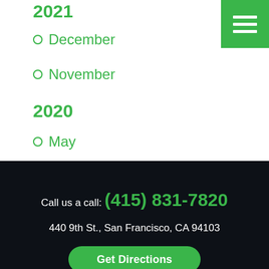2021
December
November
2020
May
Call us a call: (415) 831-7820
440 9th St., San Francisco, CA 94103
Get Directions